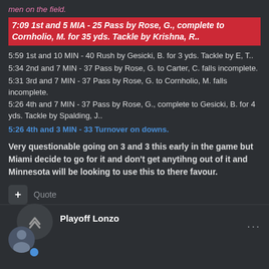men on the field.
7:09 1st and 5 MIA - 25 Pass by Rose, G., complete to Cornholio, M. for 35 yds. Tackle by Krishna, R..
5:59 1st and 10 MIN - 40 Rush by Gesicki, B. for 3 yds. Tackle by E, T..
5:34 2nd and 7 MIN - 37 Pass by Rose, G. to Carter, C. falls incomplete.
5:31 3rd and 7 MIN - 37 Pass by Rose, G. to Cornholio, M. falls incomplete.
5:26 4th and 7 MIN - 37 Pass by Rose, G., complete to Gesicki, B. for 4 yds. Tackle by Spalding, J..
5:26 4th and 3 MIN - 33 Turnover on downs.
Very questionable going on 3 and 3 this early in the game but Miami decide to go for it and don't get anytihng out of it and Minnesota will be looking to use this to there favour.
Quote
Playoff Lonzo